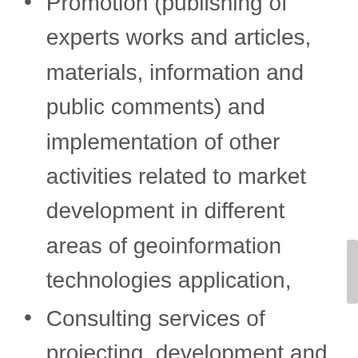Promotion (publishing of experts works and articles, materials, information and public comments) and implementation of other activities related to market development in different areas of geoinformation technologies application,
Consulting services of projecting, development and application of geoinformation systems and
Development of different forms of co-operation with academic community, professional and occupational associations, NGOs and government